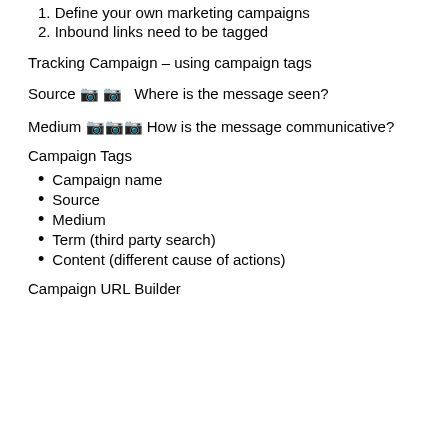1. Define your own marketing campaigns
2. Inbound links need to be tagged
Tracking Campaign – using campaign tags
Source 🔲🔲 🔲   Where is the message seen?
Medium 🔲🔲🔲 How is the message communicative?
Campaign Tags
Campaign name
Source
Medium
Term (third party search)
Content (different cause of actions)
Campaign URL Builder